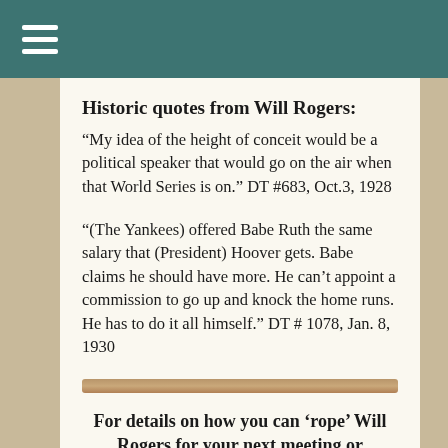≡
Historic quotes from Will Rogers:
“My idea of the height of conceit would be a political speaker that would go on the air when that World Series is on.” DT #683, Oct.3, 1928
“(The Yankees) offered Babe Ruth the same salary that (President) Hoover gets. Babe claims he should have more. He can’t appoint a commission to go up and knock the home runs. He has to do it all himself.” DT # 1078, Jan. 8, 1930
[Figure (other): Horizontal wooden divider bar]
For details on how you can ‘rope’ Will Rogers for your next meeting or